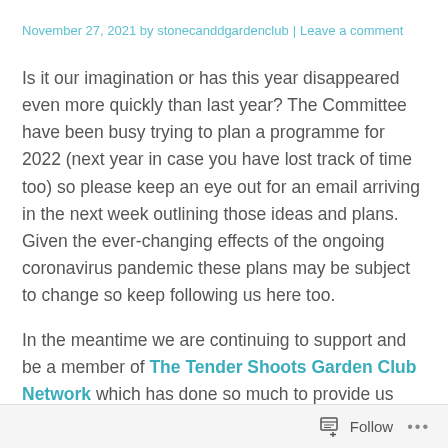November 27, 2021 by stonecanddgardenclub | Leave a comment
Is it our imagination or has this year disappeared even more quickly than last year? The Committee have been busy trying to plan a programme for 2022 (next year in case you have lost track of time too) so please keep an eye out for an email arriving in the next week outlining those ideas and plans. Given the ever-changing effects of the ongoing coronavirus pandemic these plans may be subject to change so keep following us here too.
In the meantime we are continuing to support and be a member of The Tender Shoots Garden Club Network which has done so much to provide us with a gardening related talk every month over the last year and will continue to do so for the foreseeable future. The next activity that you are invited to join in with will be a